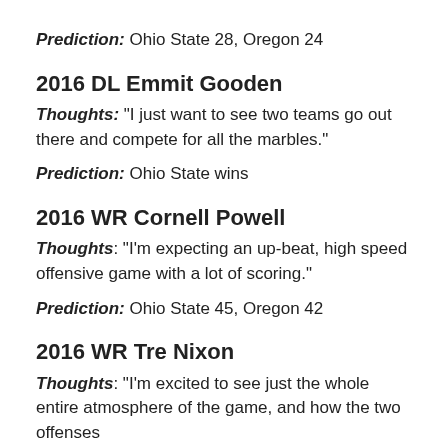Prediction: Ohio State 28, Oregon 24
2016 DL Emmit Gooden
Thoughts: "I just want to see two teams go out there and compete for all the marbles."
Prediction: Ohio State wins
2016 WR Cornell Powell
Thoughts: "I'm expecting an up-beat, high speed offensive game with a lot of scoring."
Prediction: Ohio State 45, Oregon 42
2016 WR Tre Nixon
Thoughts: "I'm excited to see just the whole entire atmosphere of the game, and how the two offenses